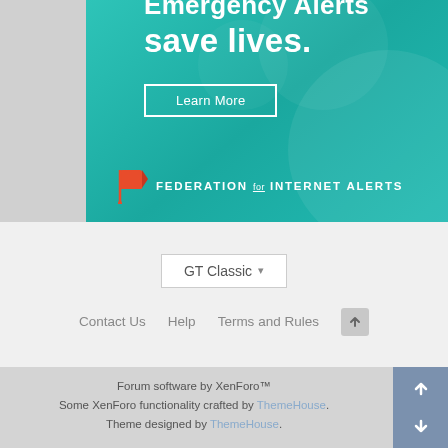[Figure (illustration): Teal/green banner advertisement for Federation for Internet Alerts showing text 'Emergency Alerts save lives.' with a Learn More button and red flag logo]
GT Classic ▾
Contact Us   Help   Terms and Rules   ↑
Forum software by XenForo™
Some XenForo functionality crafted by ThemeHouse.
Theme designed by ThemeHouse.